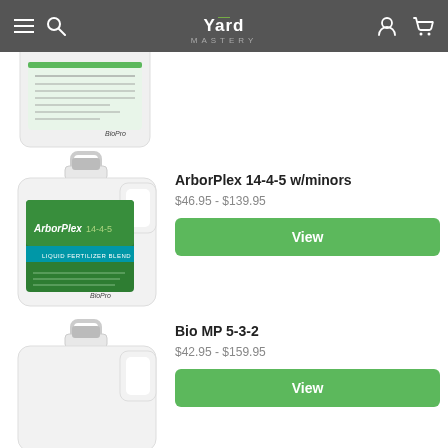Yard Mastery — navigation header
[Figure (photo): Partial product jug (cropped, top of page) — white plastic gallon jug with green label, BioPro brand]
[Figure (photo): ArborPlex 14-4-5 w/minors product — white plastic gallon jug with green/blue label showing ArborPlex 14-4-5, BioPro brand]
ArborPlex 14-4-5 w/minors
$46.95 - $139.95
View
[Figure (photo): Bio MP 5-3-2 product — white plastic gallon jug (partially visible, bottom of page)]
Bio MP 5-3-2
$42.95 - $159.95
View